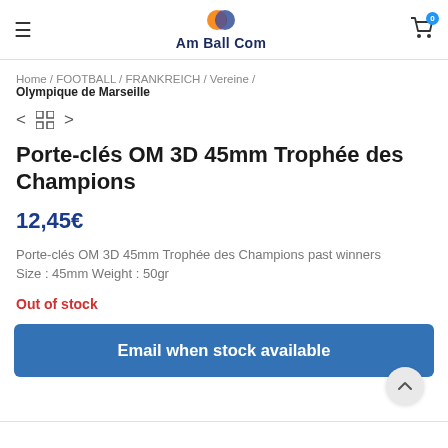Am Ball Com
Home / FOOTBALL / FRANKREICH / Vereine / Olympique de Marseille
Porte-clés OM 3D 45mm Trophée des Champions
12,45€
Porte-clés OM 3D 45mm Trophée des Champions past winners Size : 45mm Weight : 50gr
Out of stock
Email when stock available